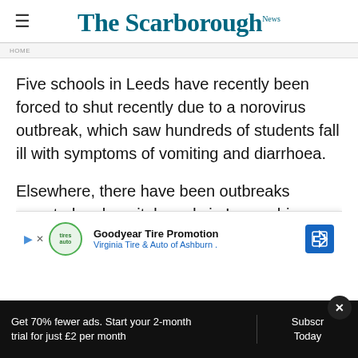The Scarborough News
Five schools in Leeds have recently been forced to shut recently due to a norovirus outbreak, which saw hundreds of students fall ill with symptoms of vomiting and diarrhoea.
Elsewhere, there have been outbreaks reported on hospital wards in Lancashire, Staffordshire, Warwickshire and schools in the... had
[Figure (other): Goodyear Tire Promotion advertisement banner - Virginia Tire & Auto of Ashburn]
Get 70% fewer ads. Start your 2-month trial for just £2 per month
Subscribe Today